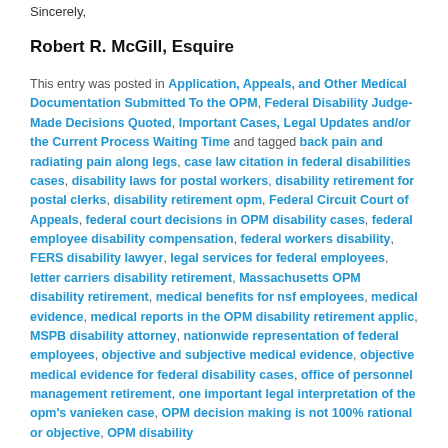Sincerely,
Robert R. McGill, Esquire
This entry was posted in Application, Appeals, and Other Medical Documentation Submitted To the OPM, Federal Disability Judge-Made Decisions Quoted, Important Cases, Legal Updates and/or the Current Process Waiting Time and tagged back pain and radiating pain along legs, case law citation in federal disabilities cases, disability laws for postal workers, disability retirement for postal clerks, disability retirement opm, Federal Circuit Court of Appeals, federal court decisions in OPM disability cases, federal employee disability compensation, federal workers disability, FERS disability lawyer, legal services for federal employees, letter carriers disability retirement, Massachusetts OPM disability retirement, medical benefits for nsf employees, medical evidence, medical reports in the OPM disability retirement applic, MSPB disability attorney, nationwide representation of federal employees, objective and subjective medical evidence, objective medical evidence for federal disability cases, office of personnel management retirement, one important legal interpretation of the opm's vanieken case, OPM decision making is not 100% rational or objective, OPM disability